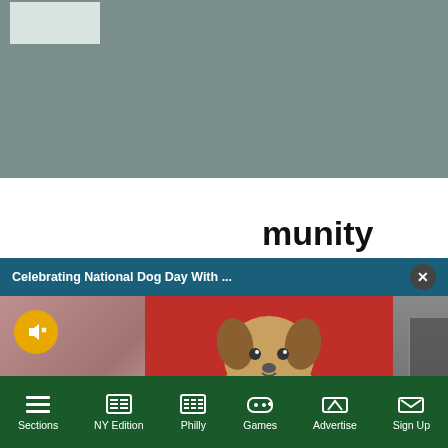[Figure (screenshot): Gray advertisement banner at top of webpage with lighter inner box]
munity
[Figure (screenshot): Notification popup bar reading 'Celebrating National Dog Day With ...' with a close X button on dark teal background]
[Figure (photo): Strip of dog photos: blurred photo on left with mute button, center photo of a Yorkie terrier dog sitting on red background next to BENNY label, blurred photos on right with 'ara' and 'Chiefs' text overlays]
Sections | NY Edition | Philly | Games | Advertise | Sign Up